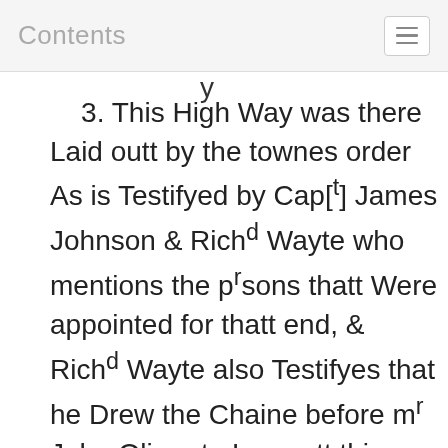Contents
3. This High Way was there Laid outt by the townes order As is Testifyed by Cap[t] James Johnson & Richd Wayte who mentions the prsons thatt Were appointed for thatt end, & Richd Wayte also Testifyes that he Drew the Chaine before mr John Oliuer to Lay outt this as a High Way where ye Defendt makes Roapes: and that this Land in Controursy is A High Way & that it was soe Laid outt by ye towne Order aboue Forty yeares since, and Neuer Disanulled by any Town Act is Testifyed by Elder